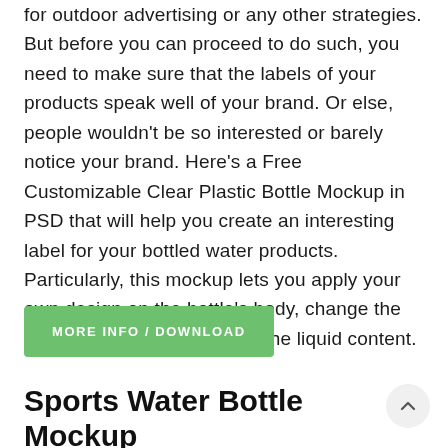for outdoor advertising or any other strategies. But before you can proceed to do such, you need to make sure that the labels of your products speak well of your brand. Or else, people wouldn't be so interested or barely notice your brand. Here's a Free Customizable Clear Plastic Bottle Mockup in PSD that will help you create an interesting label for your bottled water products. Particularly, this mockup lets you apply your own design on the bottle's body, change the color of the cap, bottle, and the liquid content.
MORE INFO / DOWNLOAD
Sports Water Bottle Mockup with Carabiner